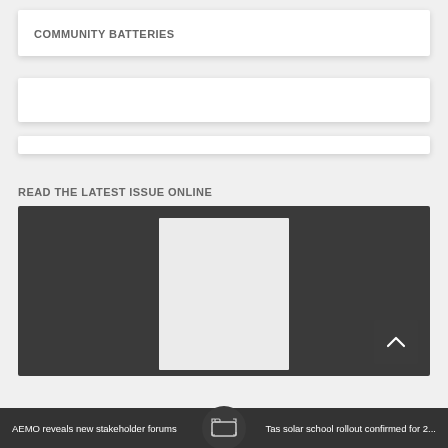COMMUNITY BATTERIES
[Figure (screenshot): Empty card placeholder 1]
[Figure (screenshot): Empty card placeholder 2]
READ THE LATEST ISSUE ONLINE
[Figure (screenshot): Online magazine viewer showing a blank white page preview on dark background with scroll-up button]
AEMO reveals new stakeholder forums | [camera icon] | Tas solar school rollout confirmed for 2...